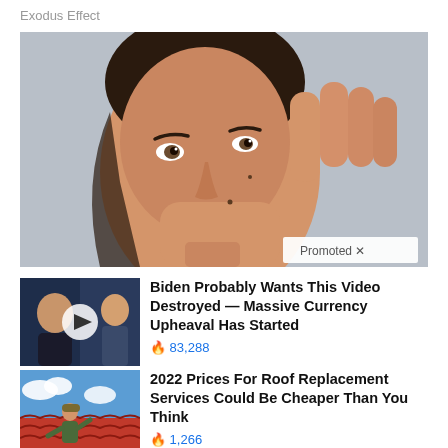Exodus Effect
[Figure (photo): Close-up portrait of a young woman with dark hair resting her chin on her hand, looking at the camera. Light grey background.]
[Figure (photo): Thumbnail of a video showing a man being interviewed on a TV set with a play button overlay.]
Biden Probably Wants This Video Destroyed — Massive Currency Upheaval Has Started
🔥 83,288
[Figure (photo): Thumbnail of a worker installing red roof tiles on a rooftop against a blue sky with clouds.]
2022 Prices For Roof Replacement Services Could Be Cheaper Than You Think
🔥 1,266